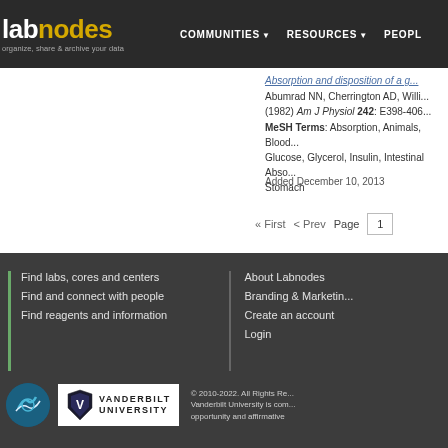lab nodes | organize, share & archive your data | COMMUNITIES | RESOURCES | PEOPLE
Absorption and disposition of a g... Abumrad NN, Cherrington AD, Willi... (1982) Am J Physiol 242: E398-406... MeSH Terms: Absorption, Animals, Blood... Glucose, Glycerol, Insulin, Intestinal Abso... Stomach
Added December 10, 2013
« First   < Prev   Page 1
Find labs, cores and centers | Find and connect with people | Find reagents and information | About Labnodes | Branding & Marketing | Create an account | Login | © 2010-2022. All Rights Re... Vanderbilt University is com... opportunity and affirmative